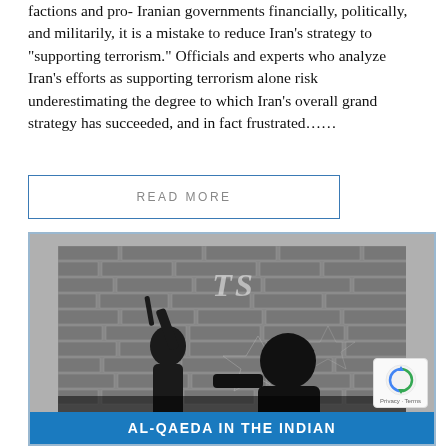factions and pro- Iranian governments financially, politically, and militarily, it is a mistake to reduce Iran's strategy to "supporting terrorism." Officials and experts who analyze Iran's efforts as supporting terrorism alone risk underestimating the degree to which Iran's overall grand strategy has succeeded, and in fact frustrated......
READ MORE
[Figure (photo): Black and white photo showing silhouettes of figures against a brick wall, with 'TS' watermark overlay. Caption bar at bottom reads 'AL-QAEDA IN THE INDIAN']
AL-QAEDA IN THE INDIAN